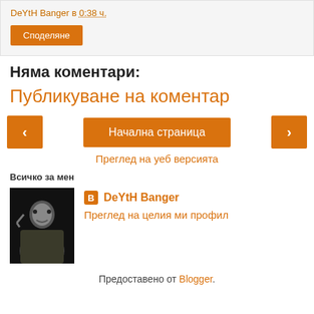DeYtH Banger в 0:38 ч.
Споделяне
Няма коментари:
Публикуване на коментар
‹  Начална страница  ›
Преглед на уеб версията
Всичко за мен
DeYtH Banger
Преглед на целия ми профил
Предоставено от Blogger.